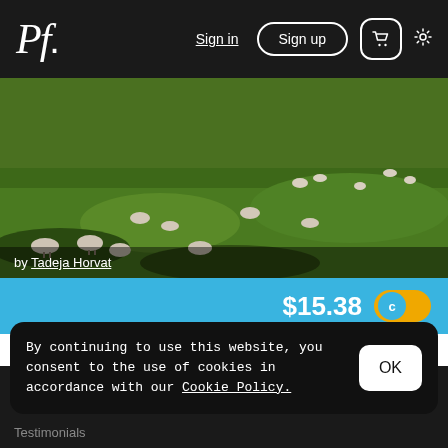Pf. Sign in Sign up 🛒 ⚙
[Figure (photo): Sheep grazing on a green hillside meadow, photographed from below looking uphill. Multiple sheep visible across the grassy landscape.]
by Tadeja Horvat
$15.38
By continuing to use this website, you consent to the use of cookies in accordance with our Cookie Policy.
Testimonials